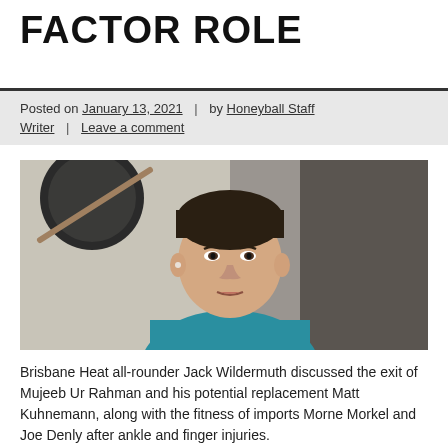FACTOR ROLE
Posted on January 13, 2021 | by Honeyball Staff Writer | Leave a comment
[Figure (photo): Video screenshot of a young man with dark hair wearing a teal/blue shirt, speaking on a video call. A dark circular wall decoration and curtains are visible in the background.]
Brisbane Heat all-rounder Jack Wildermuth discussed the exit of Mujeeb Ur Rahman and his potential replacement Matt Kuhnemann, along with the fitness of imports Morne Morkel and Joe Denly after ankle and finger injuries.